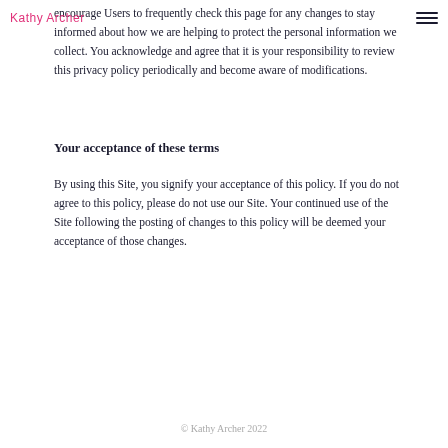Kathy Archer
encourage Users to frequently check this page for any changes to stay informed about how we are helping to protect the personal information we collect. You acknowledge and agree that it is your responsibility to review this privacy policy periodically and become aware of modifications.
Your acceptance of these terms
By using this Site, you signify your acceptance of this policy. If you do not agree to this policy, please do not use our Site. Your continued use of the Site following the posting of changes to this policy will be deemed your acceptance of those changes.
© Kathy Archer 2022